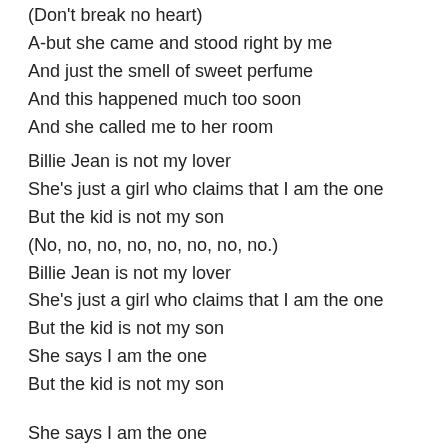(Don't break no heart)
A-but she came and stood right by me
And just the smell of sweet perfume
And this happened much too soon
And she called me to her room
Billie Jean is not my lover
She's just a girl who claims that I am the one
But the kid is not my son
(No, no, no, no, no, no, no, no.)
Billie Jean is not my lover
She's just a girl who claims that I am the one
But the kid is not my son
She says I am the one
But the kid is not my son
She says I am the one